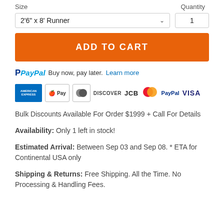Size	Quantity
2'6" x 8' Runner	1
ADD TO CART
PayPal Buy now, pay later. Learn more
[Figure (logo): Payment method icons: American Express, Apple Pay, Diners Club, Discover, JCB, MasterCard, PayPal, VISA]
Bulk Discounts Available For Order $1999 + Call For Details
Availability: Only 1 left in stock!
Estimated Arrival: Between Sep 03 and Sep 08. * ETA for Continental USA only
Shipping & Returns: Free Shipping. All the Time. No Processing & Handling Fees.